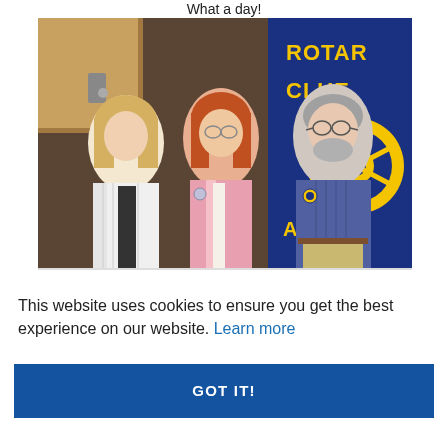What a day!
[Figure (photo): Three people posing in front of a Rotary Club International Palmer banner. On the left is a woman with blonde hair wearing a white striped blazer. In the center is a woman with red hair wearing a pink blazer with a Rotary pin. On the right is a man with gray hair and beard wearing a blue striped shirt. The background includes a wooden wall and the blue and gold Rotary Club banner.]
This website uses cookies to ensure you get the best experience on our website. Learn more
GOT IT!